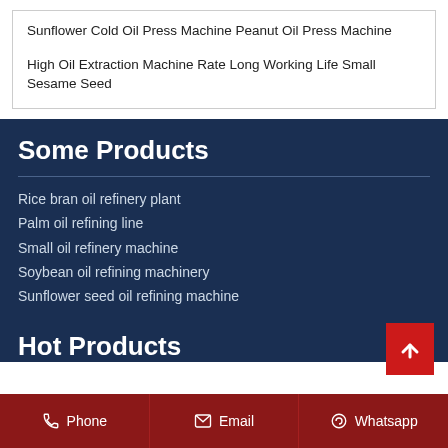Sunflower Cold Oil Press Machine Peanut Oil Press Machine
High Oil Extraction Machine Rate Long Working Life Small Sesame Seed
Some Products
Rice bran oil refinery plant
Palm oil refining line
Small oil refinery machine
Soybean oil refining machinery
Sunflower seed oil refining machine
Hot Products
Phone   Email   Whatsapp